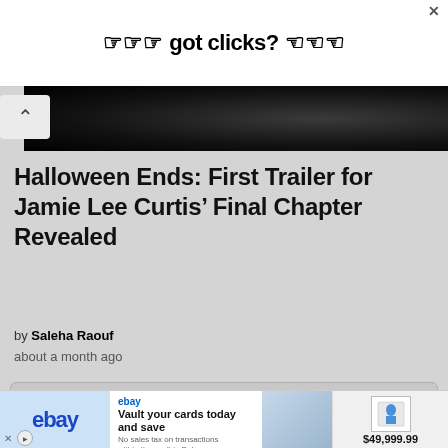[Figure (other): Advertisement banner at top: 'got clicks?' with hand/finger pointing icons on white background, with X close button]
[Figure (photo): Dark hero image strip, partially visible, appears to be a movie still with dark background]
Halloween Ends: First Trailer for Jamie Lee Curtis' Final Chapter Revealed
by Saleha Raouf
about a month ago
Start the discussion…
[Figure (other): eBay advertisement banner at bottom: left section shows eBay logo on light blue, middle section shows 'Vault your cards today and save' text with image of cards, right section shows product image with price $49,999.99]